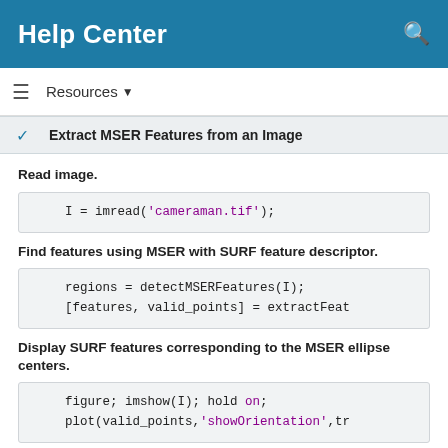Help Center
Resources ▼
Extract MSER Features from an Image
Read image.
I = imread('cameraman.tif');
Find features using MSER with SURF feature descriptor.
regions = detectMSERFeatures(I);
[features, valid_points] = extractFeat
Display SURF features corresponding to the MSER ellipse centers.
figure; imshow(I); hold on;
plot(valid_points,'showOrientation',tr